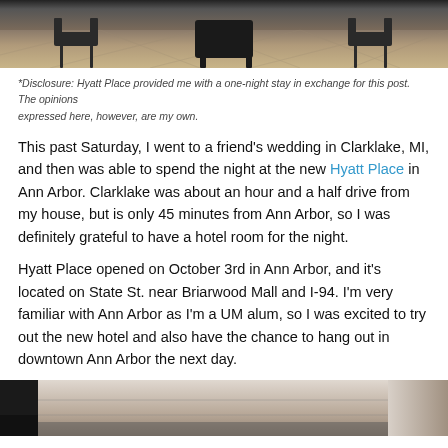[Figure (photo): Top portion of a hotel room interior photo showing chairs and a wooden floor with geometric pattern]
*Disclosure: Hyatt Place provided me with a one-night stay in exchange for this post. The opinions expressed here, however, are my own.
This past Saturday, I went to a friend's wedding in Clarklake, MI, and then was able to spend the night at the new Hyatt Place in Ann Arbor. Clarklake was about an hour and a half drive from my house, but is only 45 minutes from Ann Arbor, so I was definitely grateful to have a hotel room for the night.
Hyatt Place opened on October 3rd in Ann Arbor, and it's located on State St. near Briarwood Mall and I-94. I'm very familiar with Ann Arbor as I'm a UM alum, so I was excited to try out the new hotel and also have the chance to hang out in downtown Ann Arbor the next day.
[Figure (photo): Bottom portion of a hotel room interior photo, partially cropped]